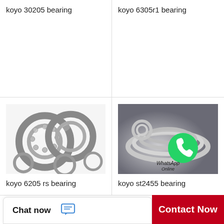koyo 30205 bearing
koyo 6305r1 bearing
[Figure (photo): Multiple KOYO self-aligning ball bearings arranged on white background]
[Figure (photo): Metal bearing rings with WhatsApp Online logo overlay]
koyo 6205 rs bearing
koyo st2455 bearing
Chat now
Contact Now